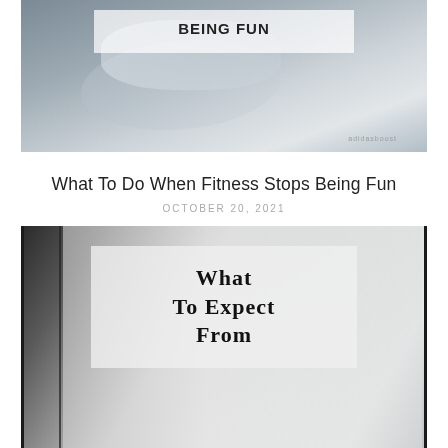[Figure (photo): A grey athletic sneaker (Adidas Boost style) photographed on a light grey background, shown at an angle from above. A semi-transparent white overlay box at the top center contains the partial title text 'BEING FUN' in bold black letters.]
What To Do When Fitness Stops Being Fun
OCTOBER 20, 2021
[Figure (photo): A black and white interior photograph showing window frames and soft background light. A semi-transparent light grey overlay box in the center contains the partial title text 'WHAT TO EXPECT FROM' in bold serif letters.]